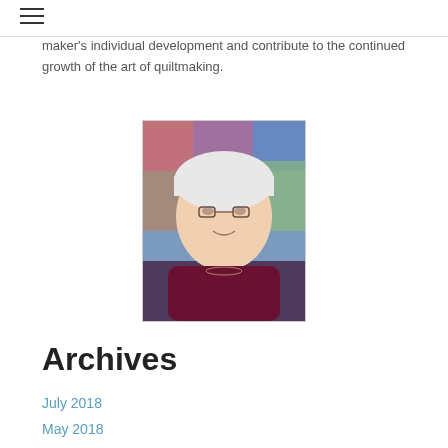maker's individual development and contribute to the continued growth of the art of quiltmaking.
[Figure (photo): Portrait photo of an elderly woman with white hair and glasses, wearing a dark maroon top, with a colorful quilt in the background.]
Archives
July 2018
May 2018
April 2018
March 2018
February 2018